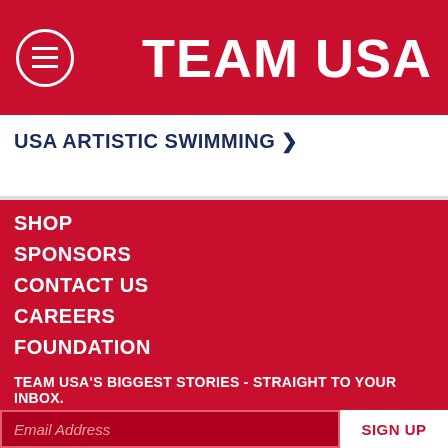TEAM USA
USA ARTISTIC SWIMMING >
SHOP
SPONSORS
CONTACT US
CAREERS
FOUNDATION
TRAINING CENTERS
REPORT A CONCERN
TEAM USA PORTAL LOGIN
FOR MEDIA
TEAM USA'S BIGGEST STORIES - STRAIGHT TO YOUR INBOX.
Email Address
SIGN UP